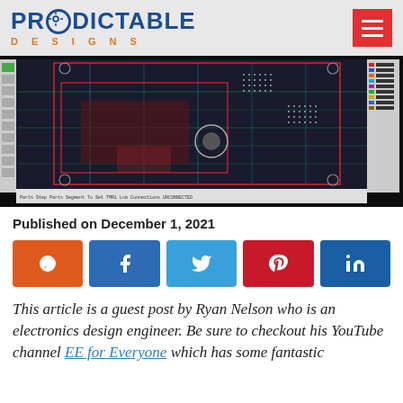PREDICTABLE DESIGNS
[Figure (screenshot): PCB design software screenshot showing a complex multi-layer circuit board layout with red, green, and cyan traces on a dark background, with a layer panel on the right side.]
Published on December 1, 2021
[Figure (infographic): Row of five social share buttons: Reddit (orange), Facebook (blue), Twitter (light blue), Pinterest (red), LinkedIn (dark blue)]
This article is a guest post by Ryan Nelson who is an electronics design engineer. Be sure to checkout his YouTube channel EE for Everyone which has some fantastic